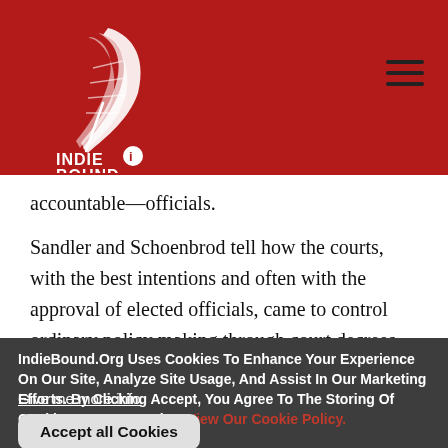[Figure (logo): IndieBound logo — white stylized feather/book icon above 'INDIE BOUND' text in white on red background]
accountable—officials.
Sandler and Schoenbrod tell how the courts, with the best intentions and often with the approval of elected officials, came to control ordinary policy making through court decrees. These court regimes,
IndieBound.Org Uses Cookies To Enhance Your Experience On Our Site, Analyze Site Usage, And Assist In Our Marketing Efforts. By Clicking Accept, You Agree To The Storing Of Cookies On Your Device. View Our Cookie Policy.
Give me more info
Accept all Cookies